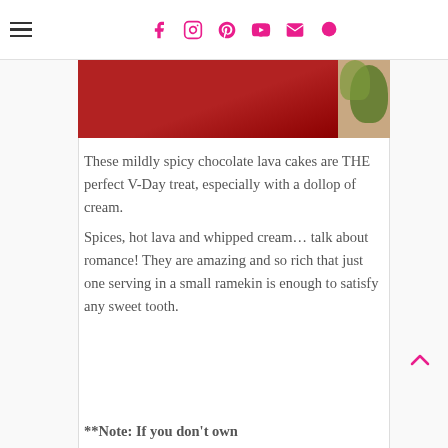Navigation header with hamburger menu and social icons (Facebook, Instagram, Pinterest, YouTube, Email, Search)
[Figure (photo): Partial photo showing a red ramekin with floral plate and greenery on a wooden surface]
These mildly spicy chocolate lava cakes are THE perfect V-Day treat, especially with a dollop of cream. Spices, hot lava and whipped cream… talk about romance! They are amazing and so rich that just one serving in a small ramekin is enough to satisfy any sweet tooth.
**Note: If you don't own